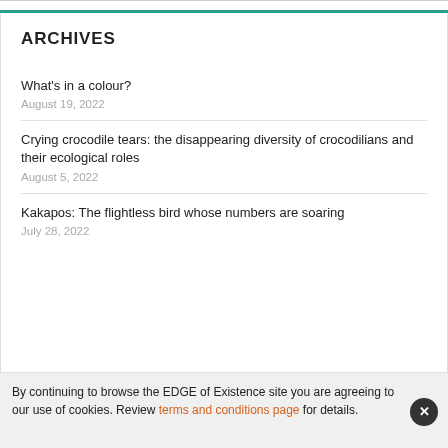ARCHIVES
What's in a colour?
August 19, 2022
Crying crocodile tears: the disappearing diversity of crocodilians and their ecological roles
August 5, 2022
Kakapos: The flightless bird whose numbers are soaring
July 28, 2022
By continuing to browse the EDGE of Existence site you are agreeing to our use of cookies. Review terms and conditions page for details.